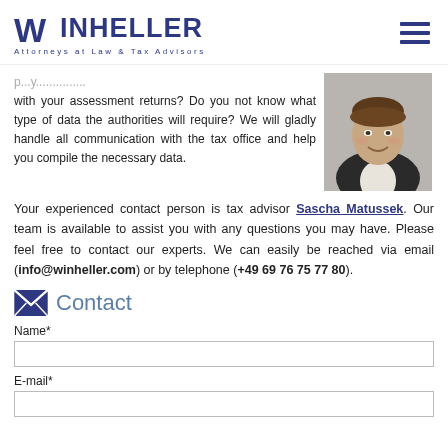WINHELLER Attorneys at Law & Tax Advisors
with your assessment returns? Do you not know what type of data the authorities will require? We will gladly handle all communication with the tax office and help you compile the necessary data.
[Figure (photo): Professional headshot of a man in a dark jacket, smiling]
Your experienced contact person is tax advisor Sascha Matussek. Our team is available to assist you with any questions you may have. Please feel free to contact our experts. We can easily be reached via email (info@winheller.com) or by telephone (+49 69 76 75 77 80).
Contact
Name*
E-mail*